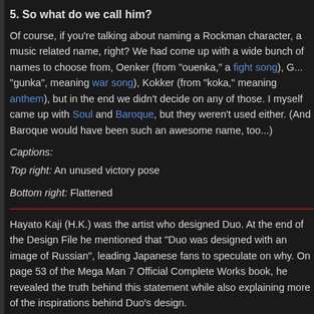5. So what do we call him?
Of course, if you're talking about naming a Rockman character, a music related name, right? We had come up with a wide bunch of names to choose from, Oenker (from "ouenka," a fight song), G... "gunka", meaning war song), Kokker (from "koka," meaning anthem), but in the end we didn't decide on any of those. I myself came up with Soul and Baroque, but they weren't used either. (And Baroque would have been such an awesome name, too...)
Captions:
Top right: An unused victory pose
Bottom right: Flattened
Hayato Kaji (H.K.) was the artist who designed Duo. At the end of the Design File he mentioned that "Duo was designed with an image of Russian", leading Japanese fans to speculate on why. On page 53 of the Mega Man 7 Official Complete Works book, he revealed the truth behind this statement while also explaining more of the inspirations behind Duo's design.